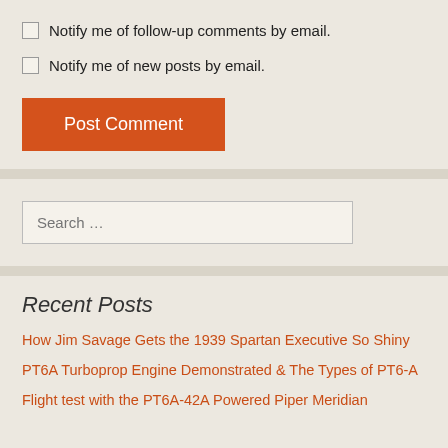Notify me of follow-up comments by email.
Notify me of new posts by email.
Post Comment
Search ...
Recent Posts
How Jim Savage Gets the 1939 Spartan Executive So Shiny
PT6A Turboprop Engine Demonstrated & The Types of PT6-A
Flight test with the PT6A-42A Powered Piper Meridian